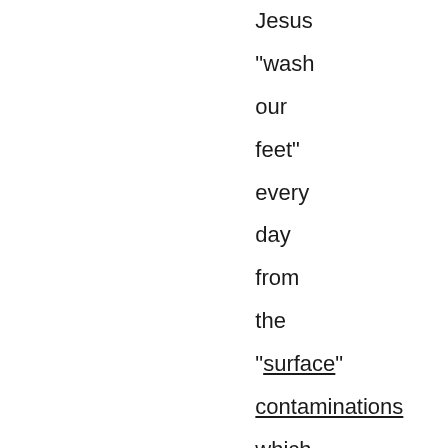Jesus "wash our feet" every day from the "surface" contaminations which we pickup from